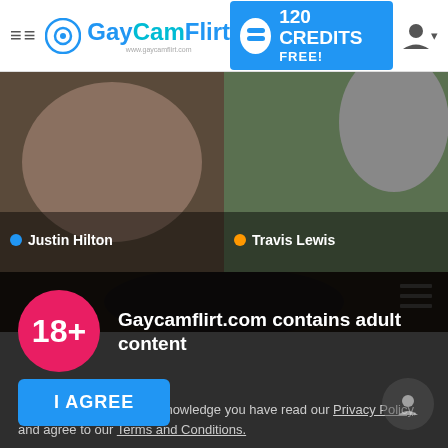GayCamFlirt — 120 CREDITS FREE!
[Figure (screenshot): Thumbnail of Justin Hilton webcam feed — man with beard and hat]
[Figure (screenshot): Thumbnail of Travis Lewis webcam feed — outdoor water scene]
[Figure (screenshot): Third performer thumbnail strip with grid icon]
Gaycamflirt.com contains adult content
By using the site, you acknowledge you have read our Privacy Policy, and agree to our Terms and Conditions.
We use cookies to optimize your experience, analyze traffic, and deliver more personalized service. To learn more, please see our Privacy Policy.
I AGREE